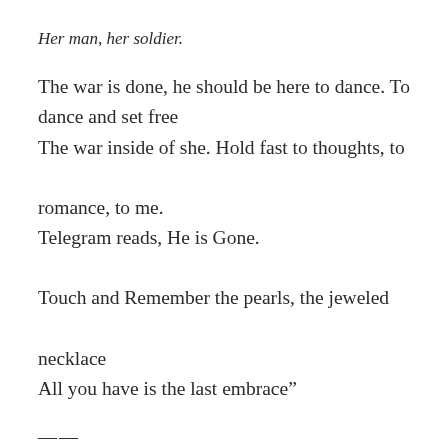Her man, her soldier.
The war is done, he should be here to dance. To dance and set free
The war inside of she. Hold fast to thoughts, to romance, to me.
Telegram reads, He is Gone.
Touch and Remember the pearls, the jeweled necklace
All you have is the last embrace"
——